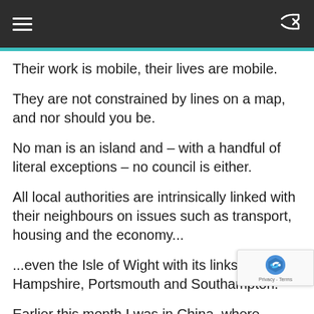Their work is mobile, their lives are mobile.
They are not constrained by lines on a map, and nor should you be.
No man is an island and – with a handful of literal exceptions – no council is either.
All local authorities are intrinsically linked with their neighbours on issues such as transport, housing and the economy...
...even the Isle of Wight with its links to Hampshire, Portsmouth and Southampton.
Earlier this month I was in China, where interes the Northern Powerhouse and Midlands Engin was pronounced because potential investors want